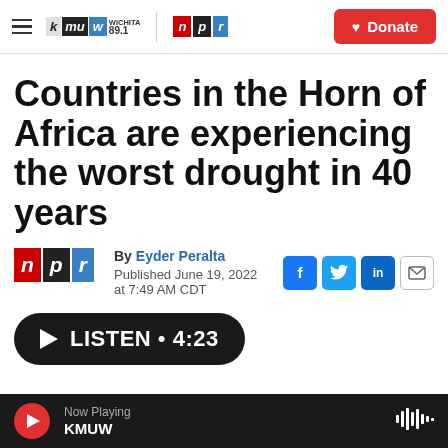KMUW WICHITA 89.1 | NPR | Donate
Countries in the Horn of Africa are experiencing the worst drought in 40 years
By Eyder Peralta
Published June 19, 2022 at 7:49 AM CDT
LISTEN • 4:23
Now Playing KMUW